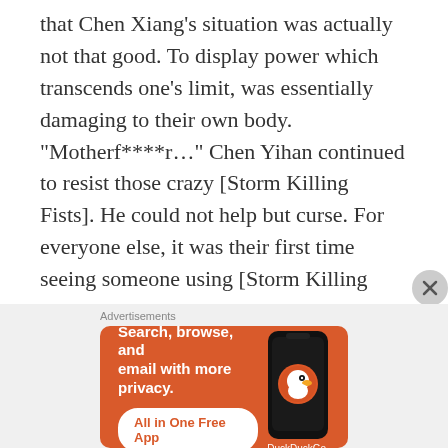that Chen Xiang's situation was actually not that good. To display power which transcends one's limit, was essentially damaging to their own body.
“Motherf****r…” Chen Yihan continued to resist those crazy [Storm Killing Fists]. He could not help but curse. For everyone else, it was their first time seeing someone using [Storm Killing Fist] in such a peculiar manner. It was also the first time they understood that this High Grade Mortal Level Martial Skill could unexpectedly
Advertisements
[Figure (infographic): DuckDuckGo advertisement banner with orange background. Text reads: Search, browse, and email with more privacy. All in One Free App. Shows a smartphone with DuckDuckGo logo and DuckDuckGo. brand name.]